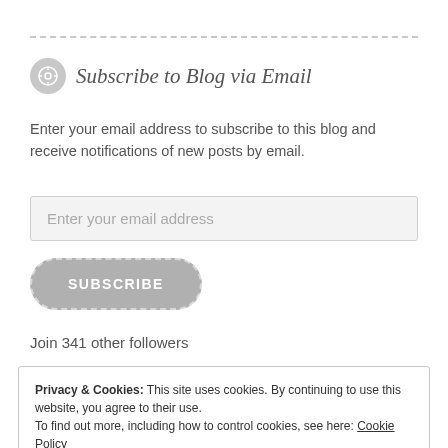Subscribe to Blog via Email
Enter your email address to subscribe to this blog and receive notifications of new posts by email.
Enter your email address
SUBSCRIBE
Join 341 other followers
Privacy & Cookies: This site uses cookies. By continuing to use this website, you agree to their use.
To find out more, including how to control cookies, see here: Cookie Policy
Close and accept